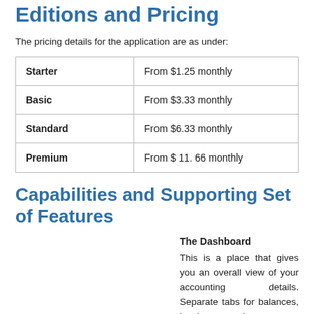Editions and Pricing
The pricing details for the application are as under:
| Edition | Price |
| --- | --- |
| Starter | From $1.25 monthly |
| Basic | From $3.33 monthly |
| Standard | From $6.33 monthly |
| Premium | From $ 11. 66 monthly |
Capabilities and Supporting Set of Features
The Dashboard
This is a place that gives you an overall view of your accounting details. Separate tabs for balances, invoices, and expenses gives you a quick look at your performance